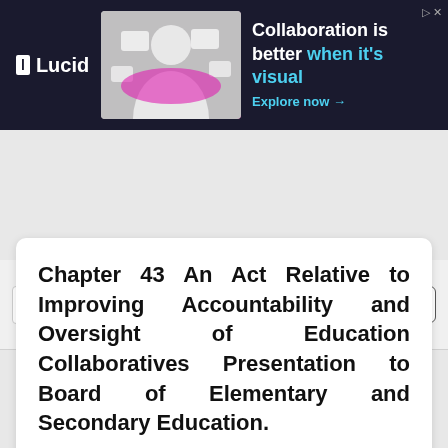[Figure (illustration): Lucid advertisement banner with logo, person image, and text 'Collaboration is better when it's visual. Explore now →']
Degrees To Fit Your Busy Schedule. American Public Univ   Apply Now
Chapter 43 An Act Relative to Improving Accountability and Oversight of Education Collaboratives Presentation to Board of Elementary and Secondary Education.
Published by Ashley Williams
Embed
Download presentation